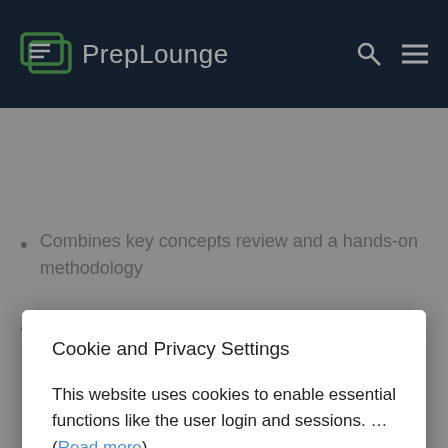PrepLounge
Combines key concepts review and a hands-on methodology
Contains printable worksheets to prepare your stories
Cookie and Privacy Settings
This website uses cookies to enable essential functions like the user login and sessions. … (Read more)
I accept
Manage settings individually